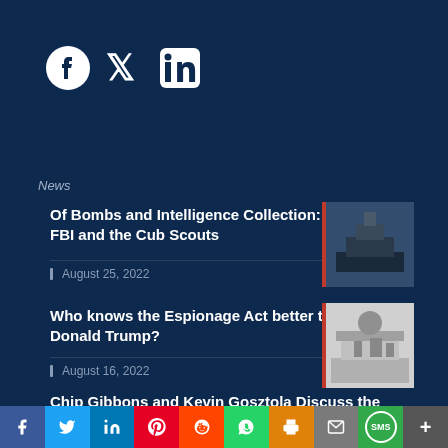[Figure (logo): Social media share icons: Facebook, Twitter, LinkedIn in white on dark navy background]
News
Of Bombs and Intelligence Collection: The FBI and the Cub Scouts
August 25, 2022
[Figure (photo): Photo of government building exterior, dark tones]
Who knows the Espionage Act better than Donald Trump?
August 16, 2022
[Figure (photo): Black and white illustration/photo of classical building with figure]
Chip Gibbons and Kevin Gosztola Discuss the "Pretty Bad Takes" on Trump and the Espionage Act
[Figure (infographic): Bottom social sharing bar with icons: Facebook, Twitter, LinkedIn, Pinterest, Reddit, WhatsApp, Print, Mail, SMS, More]